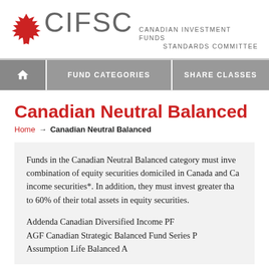[Figure (logo): CIFSC Canadian Investment Funds Standards Committee logo with red maple leaf]
FUND CATEGORIES | SHARE CLASSES
Canadian Neutral Balanced
Home → Canadian Neutral Balanced
Funds in the Canadian Neutral Balanced category must invest in a combination of equity securities domiciled in Canada and Canadian income securities*. In addition, they must invest greater than 40% to 60% of their total assets in equity securities.
Addenda Canadian Diversified Income PF
AGF Canadian Strategic Balanced Fund Series P
Assumption Life Balanced A